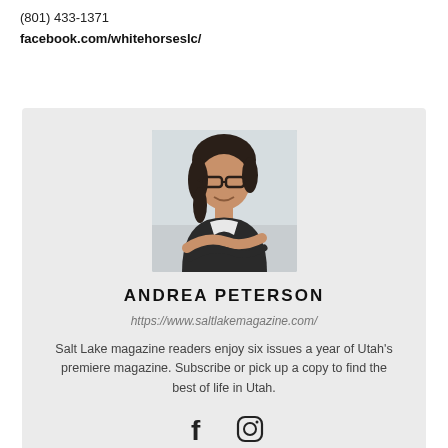(801) 433-1371
facebook.com/whitehorseslc/
[Figure (photo): Portrait photo of Andrea Peterson, a woman with dark hair pulled back, wearing glasses and a dark sleeveless top, arms crossed, smiling, against a light background.]
ANDREA PETERSON
https://www.saltlakemagazine.com/
Salt Lake magazine readers enjoy six issues a year of Utah's premiere magazine. Subscribe or pick up a copy to find the best of life in Utah.
[Figure (illustration): Social media icons: Facebook (f) and Instagram (circle with camera outline)]